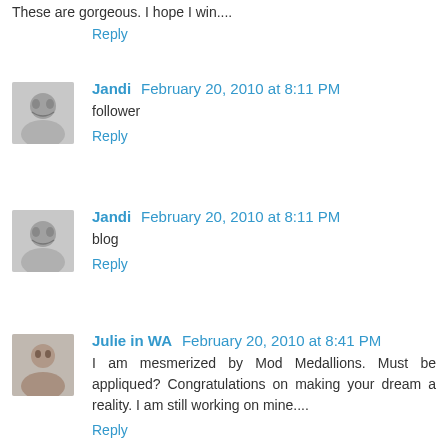These are gorgeous. I hope I win....
Reply
Jandi  February 20, 2010 at 8:11 PM
follower
Reply
Jandi  February 20, 2010 at 8:11 PM
blog
Reply
Julie in WA  February 20, 2010 at 8:41 PM
I am mesmerized by Mod Medallions. Must be appliqued? Congratulations on making your dream a reality. I am still working on mine....
Reply